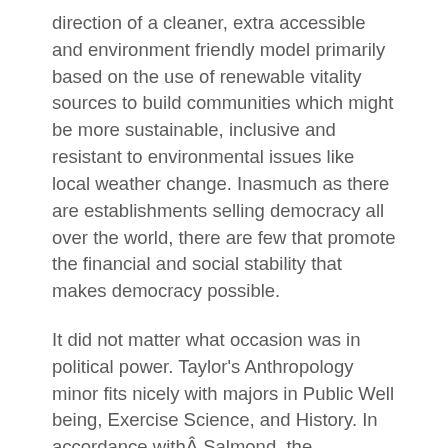direction of a cleaner, extra accessible and environment friendly model primarily based on the use of renewable vitality sources to build communities which might be more sustainable, inclusive and resistant to environmental issues like local weather change. Inasmuch as there are establishments selling democracy all over the world, there are few that promote the financial and social stability that makes democracy possible.
It did not matter what occasion was in political power. Taylor's Anthropology minor fits nicely with majors in Public Well being, Exercise Science, and History. In accordance withÂ Salmond, the excellence betweenÂ crimesÂ and civil wrongs is thatÂ crimesÂ are public wrongs, whereas civil wrongs are non-public wrongs. In utilized economics, input-output fashions using linear programming strategies are fairly frequent.
Alaska had the highest rate of reported violent crimes in